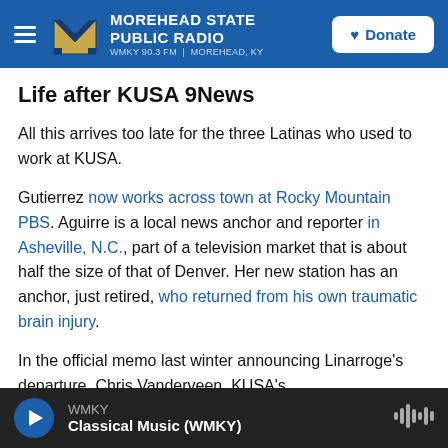MOREHEAD STATE PUBLIC RADIO | WMKY 90.3 FM | MOREHEAD, KY | Donate
Life after KUSA 9News
All this arrives too late for the three Latinas who used to work at KUSA.
Gutierrez now works across town at Rocky Mountain PBS. Aguirre is a local news anchor and reporter in Asheville, N.C., part of a television market that is about half the size of that of Denver. Her new station has an anchor, just retired, who returned from his own traumatic brain injury.
In the official memo last winter announcing Linarroge's departure, Chris Vanderveen, KUSA's
WMKY | Classical Music (WMKY)